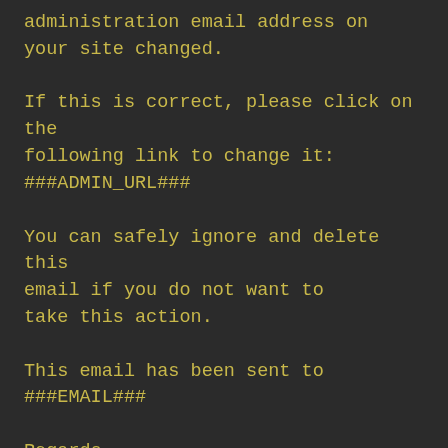administration email address on your site changed.

If this is correct, please click on the following link to change it:
###ADMIN_URL###

You can safely ignore and delete this email if you do not want to take this action.

This email has been sent to ###EMAIL###

Regards,
All at ###SITENAME###
###SITEURL###'
        );